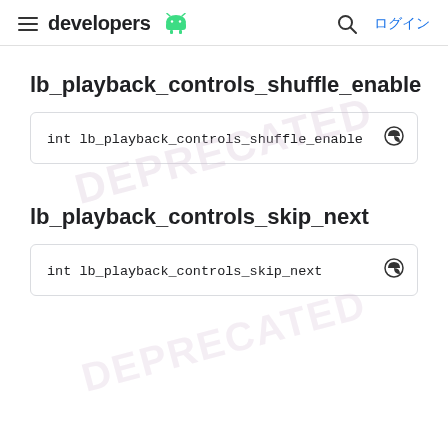developers [Android logo] ログイン
lb_playback_controls_shuffle_enable
int lb_playback_controls_shuffle_enable
lb_playback_controls_skip_next
int lb_playback_controls_skip_next